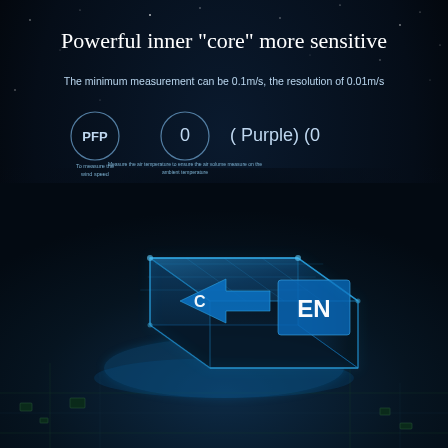Powerful inner "core" more sensitive
The minimum measurement can be 0.1m/s, the resolution of 0.01m/s
[Figure (infographic): Three icons in a row: PFP circle icon with small text 'To measure the wind speed', a circle with '0' inside and small text 'Measure the air temperature to ensure the air volume measurement and the ambient temperature', and text '( Purple) (0'. Below these icons is a glowing blue holographic microchip/circuit board with letters 'C' and 'EN' displayed on it, representing a powerful inner core processor.]
C  EN